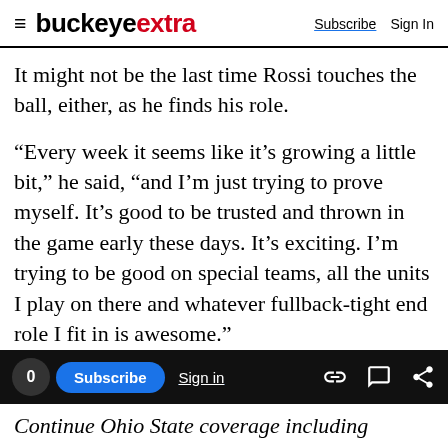buckeyextra  Subscribe  Sign In
It might not be the last time Rossi touches the ball, either, as he finds his role.
“Every week it seems like it’s growing a little bit,” he said, “and I’m just trying to prove myself. It’s good to be trusted and thrown in the game early these days. It’s exciting. I’m trying to be good on special teams, all the units I play on there and whatever fullback-tight end role I fit in is awesome.”
Joey Kaufman covers Ohio State football for The Columbus Dispatch. Contact him at jkaufman@dispatch.com or on Twitter
0  Subscribe  Sign in